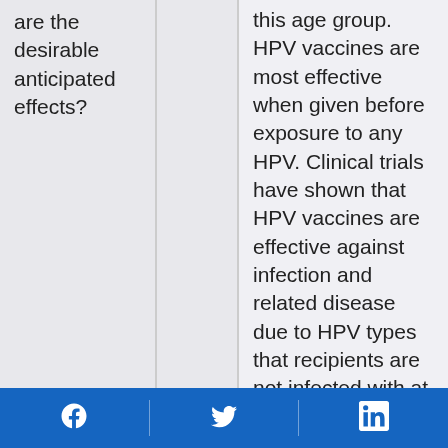are the desirable anticipated effects?
this age group. HPV vaccines are most effective when given before exposure to any HPV. Clinical trials have shown that HPV vaccines are effective against infection and related disease due to HPV types that recipients are not infected with at the time of
Social media icons: Facebook, Twitter, LinkedIn